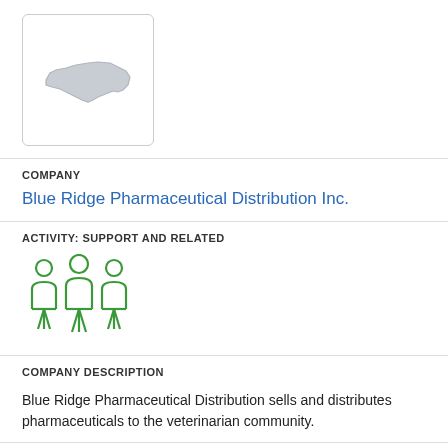[Figure (logo): North Carolina state outline logo in light gray inside a rounded rectangle box]
COMPANY
Blue Ridge Pharmaceutical Distribution Inc.
ACTIVITY: SUPPORT AND RELATED
[Figure (illustration): Green icon showing three people/group figures representing support activity]
COMPANY DESCRIPTION
Blue Ridge Pharmaceutical Distribution sells and distributes pharmaceuticals to the veterinarian community.
LOCATION
Charlotte